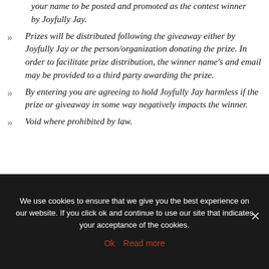your name to be posted and promoted as the contest winner by Joyfully Jay.
Prizes will be distributed following the giveaway either by Joyfully Jay or the person/organization donating the prize. In order to facilitate prize distribution, the winner name's and email may be provided to a third party awarding the prize.
By entering you are agreeing to hold Joyfully Jay harmless if the prize or giveaway in some way negatively impacts the winner.
Void where prohibited by law.
We use cookies to ensure that we give you the best experience on our website. If you click ok and continue to use our site that indicates your acceptance of the cookies.
Ok   Read more